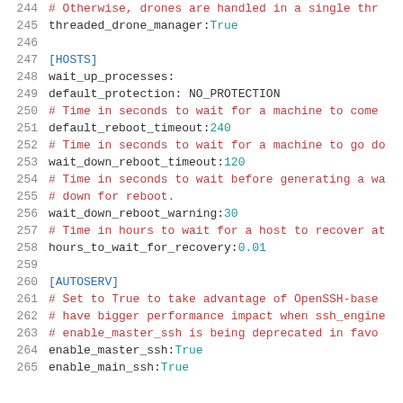244  # Otherwise, drones are handled in a single thr
245  threaded_drone_manager: True
246
247  [HOSTS]
248  wait_up_processes:
249  default_protection: NO_PROTECTION
250  # Time in seconds to wait for a machine to come
251  default_reboot_timeout: 240
252  # Time in seconds to wait for a machine to go do
253  wait_down_reboot_timeout: 120
254  # Time in seconds to wait before generating a wa
255  # down for reboot.
256  wait_down_reboot_warning: 30
257  # Time in hours to wait for a host to recover at
258  hours_to_wait_for_recovery: 0.01
259
260  [AUTOSERV]
261  # Set to True to take advantage of OpenSSH-base
262  # have bigger performance impact when ssh_engine
263  # enable_master_ssh is being deprecated in favo
264  enable_master_ssh: True
265  enable_main_ssh: True